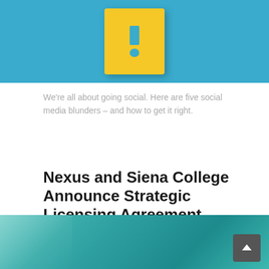[Figure (photo): Blue background with a yellow sticky note/card showing an exclamation mark symbol in blue]
We're all about going social. Here are five social media blunders – and how to get it right.
Nexus and Siena College Announce Strategic Licensing Agreement
August 18, 2021
[Figure (photo): Teal/turquoise colored background with light reflection, partial view of a building or interior]